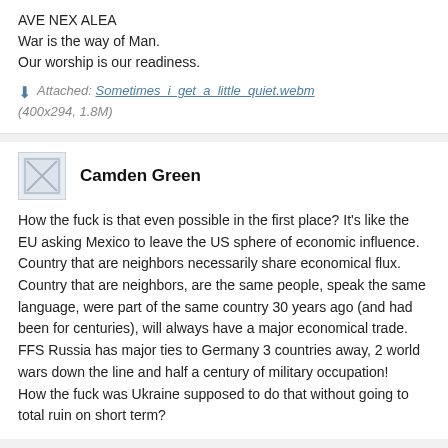AVE NEX ALEA
War is the way of Man.
Our worship is our readiness.
Attached: Sometimes_i_get_a_little_quiet.webm (400x294, 1.8M)
Camden Green
How the fuck is that even possible in the first place? It's like the EU asking Mexico to leave the US sphere of economic influence. Country that are neighbors necessarily share economical flux.
Country that are neighbors, are the same people, speak the same language, were part of the same country 30 years ago (and had been for centuries), will always have a major economical trade.
FFS Russia has major ties to Germany 3 countries away, 2 world wars down the line and half a century of military occupation!
How the fuck was Ukraine supposed to do that without going to total ruin on short term?